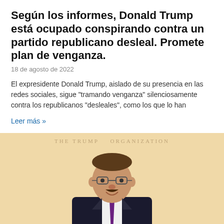Según los informes, Donald Trump está ocupado conspirando contra un partido republicano desleal. Promete plan de venganza.
18 de agosto de 2022
El expresidente Donald Trump, aislado de su presencia en las redes sociales, sigue "tramando venganza" silenciosamente contra los republicanos "desleales", como los que lo han
Leer más »
[Figure (photo): Portrait photo of a middle-aged man with glasses and a mustache, wearing a dark suit and purple tie, in front of a light beige background with 'THE TRUMP ORGANIZATION' text faintly visible.]